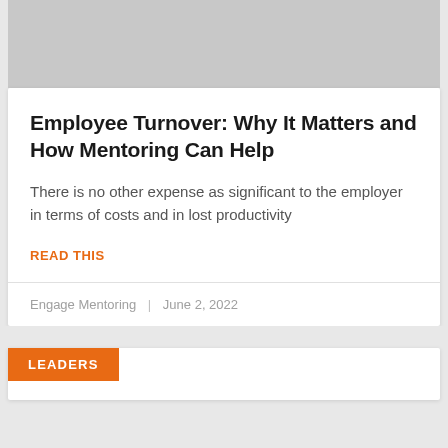[Figure (photo): Gray image placeholder at the top of the card]
Employee Turnover: Why It Matters and How Mentoring Can Help
There is no other expense as significant to the employer in terms of costs and in lost productivity
READ THIS
Engage Mentoring  |  June 2, 2022
LEADERS